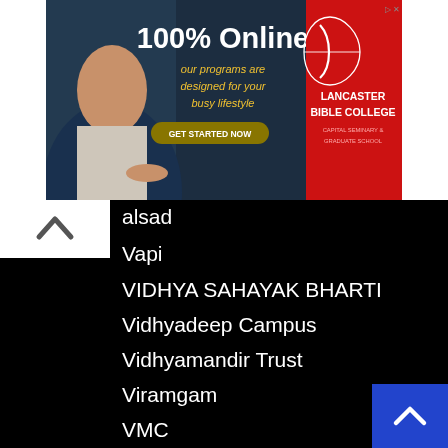[Figure (screenshot): Advertisement banner for Lancaster Bible College: '100% Online - our programs are designed for your busy lifestyle - GET STARTED NOW']
alsad
Vapi
VIDHYA SAHAYAK BHARTI
Vidhyadeep Campus
Vidhyamandir Trust
Viramgam
VMC
VNSGU
VTC
VVWCC
Vyara
Waiting List